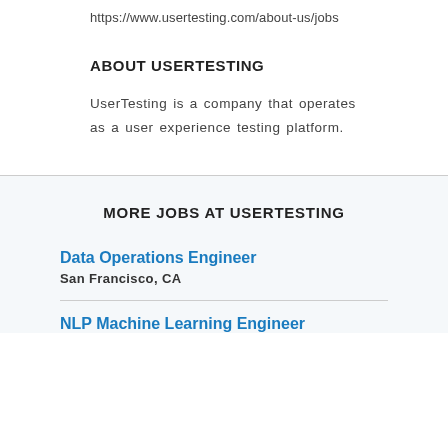https://www.usertesting.com/about-us/jobs
ABOUT USERTESTING
UserTesting is a company that operates as a user experience testing platform.
MORE JOBS AT USERTESTING
Data Operations Engineer
San Francisco, CA
NLP Machine Learning Engineer